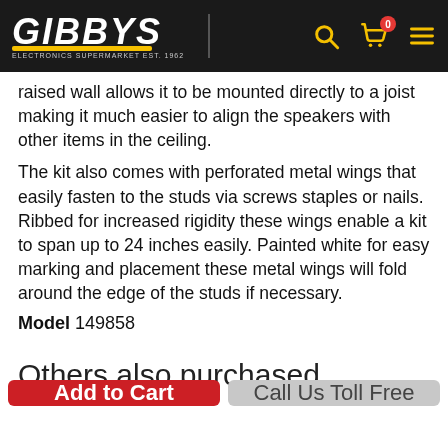GIBBYS electronics supermarket
raised wall allows it to be mounted directly to a joist making it much easier to align the speakers with other items in the ceiling. The kit also comes with perforated metal wings that easily fasten to the studs via screws staples or nails. Ribbed for increased rigidity these wings enable a kit to span up to 24 inches easily. Painted white for easy marking and placement these metal wings will fold around the edge of the studs if necessary.
Model 149858
Others also purchased
Add to Cart
Call Us Toll Free